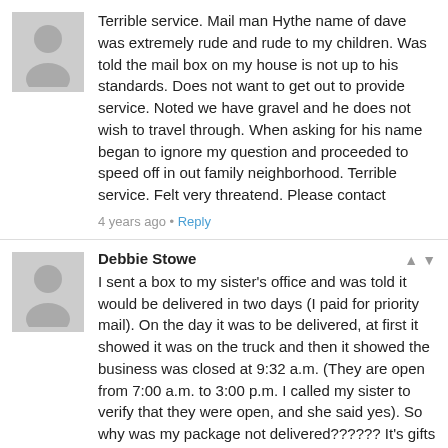Josh Martin
Terrible service. Mail man Hythe name of dave was extremely rude and rude to my children. Was told the mail box on my house is not up to his standards. Does not want to get out to provide service. Noted we have gravel and he does not wish to travel through. When asking for his name began to ignore my question and proceeded to speed off in out family neighborhood. Terrible service. Felt very threatend. Please contact
4 years ago • Reply
Debbie Stowe
I sent a box to my sister's office and was told it would be delivered in two days (I paid for priority mail). On the day it was to be delivered, at first it showed it was on the truck and then it showed the business was closed at 9:32 a.m. (They are open from 7:00 a.m. to 3:00 p.m. I called my sister to verify that they were open, and she said yes). So why was my package not delivered?????? It's gifts for a baby shower!! I tried calling the number